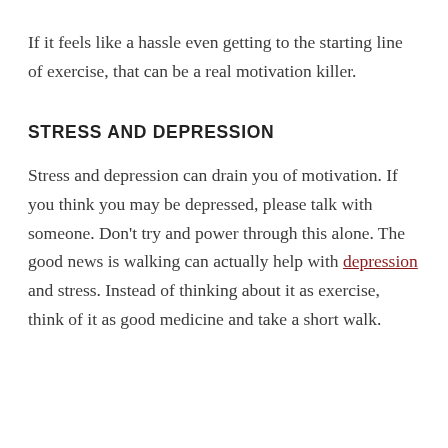If it feels like a hassle even getting to the starting line of exercise, that can be a real motivation killer.
STRESS AND DEPRESSION
Stress and depression can drain you of motivation. If you think you may be depressed, please talk with someone. Don't try and power through this alone. The good news is walking can actually help with depression and stress. Instead of thinking about it as exercise, think of it as good medicine and take a short walk.